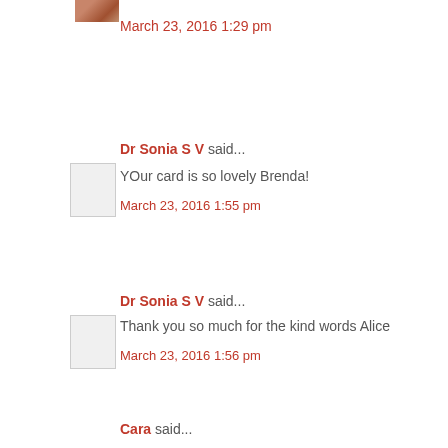March 23, 2016 1:29 pm
Dr Sonia S V said...
YOur card is so lovely Brenda!
March 23, 2016 1:55 pm
Dr Sonia S V said...
Thank you so much for the kind words Alice
March 23, 2016 1:56 pm
Cara said...
Some fabulous inspiration there from fabulous designers... pick, wow, there was some stunning competition and the... wins. Cara x
March 24, 2016 10:03 am